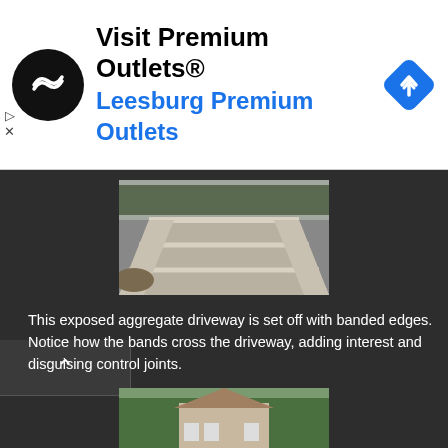[Figure (screenshot): Advertisement banner: Visit Premium Outlets® logo with circular black icon, Leesburg Premium Outlets text in blue, navigation arrow icon in blue diamond shape]
[Figure (photo): Exposed aggregate driveway with banded edges and control joints crossing the driveway]
This exposed aggregate driveway is set off with banded edges. Notice how the bands cross the driveway, adding interest and disguising control joints.
[Figure (photo): Curved driveway with red brick borders and stained dark centerpiece in front of a house with landscaping]
Without the high-impact red brick borders on this driveway, it's tediously stained centerpiece may be mistaken for regular 'ol pavement. The high